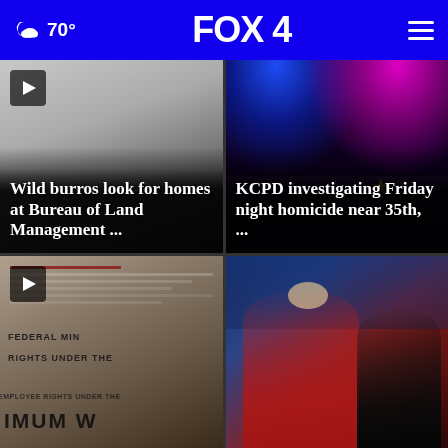70° FOX 4
[Figure (photo): Wild burros article thumbnail with gray gradient background and white bold headline text]
[Figure (photo): Police car with blue and pink/magenta flashing lights at night, KCPD homicide story]
[Figure (photo): Federal minimum wage document closeup with red text lines, play button overlay]
[Figure (photo): Women's soccer or sports action photo with players in red and black uniforms, crowd in background]